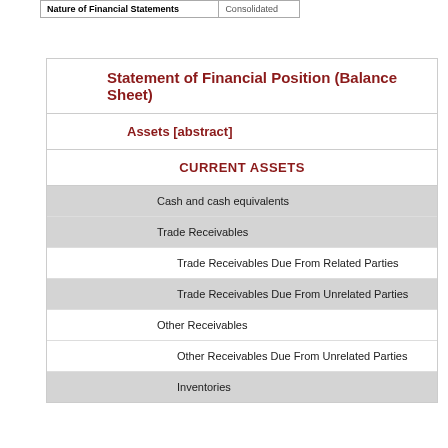| Nature of Financial Statements | Consolidated |
| --- | --- |
Statement of Financial Position (Balance Sheet)
Assets [abstract]
CURRENT ASSETS
Cash and cash equivalents
Trade Receivables
Trade Receivables Due From Related Parties
Trade Receivables Due From Unrelated Parties
Other Receivables
Other Receivables Due From Unrelated Parties
Inventories